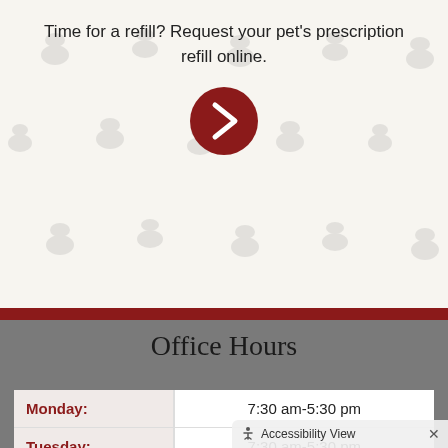Time for a refill? Request your pet's prescription refill online.
[Figure (other): Dark red circular button with a right-pointing chevron arrow]
Office Hours
| Day | Hours |
| --- | --- |
| Monday: | 7:30 am-5:30 pm |
| Tuesday: | 7:30 am-5:30 pm |
| Wednesday: | 7:30 am-5:30 pm |
| Thursday: | 7:30 am-5:30 pm |
Accessibility View